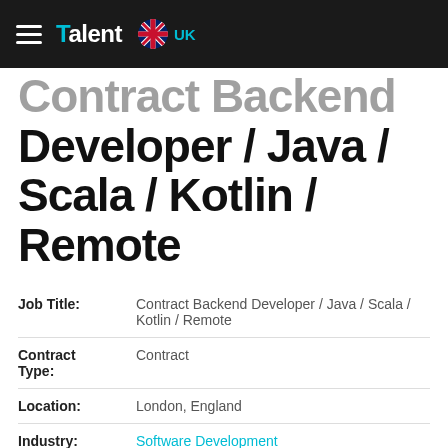Talent UK
Contract Backend Developer / Java / Scala / Kotlin / Remote
| Field | Value |
| --- | --- |
| Job Title: | Contract Backend Developer / Java / Scala / Kotlin / Remote |
| Contract Type: | Contract |
| Location: | London, England |
| Industry: | Software Development |
| Salary: | £500 - £525 per day |